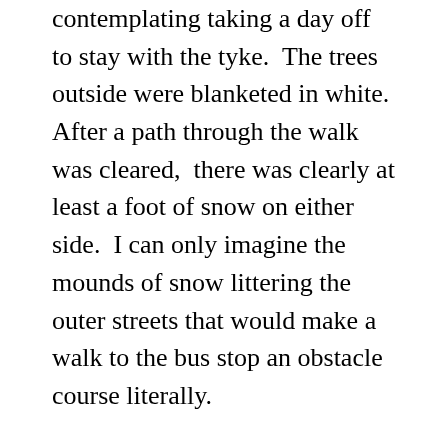contemplating taking a day off to stay with the tyke.  The trees outside were blanketed in white.  After a path through the walk was cleared,  there was clearly at least a foot of snow on either side.  I can only imagine the mounds of snow littering the outer streets that would make a walk to the bus stop an obstacle course literally.
I finally picked up my jewelry making tools last  night and almost have a finished necklace, but this time, I am making this locket necklace for myself.  I love buying lockets for pieces yet to be created, but the only locket I had actually made into a necklace became a keepsake to my half sister just before I left Manila in August of last year.  So there went my locket necklace.  This time I want to create a three layer ensemble, but with separate